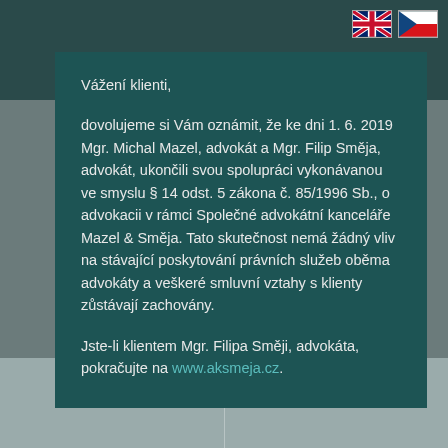[Figure (illustration): UK and Czech Republic flag icons in top right corner]
Vážení klienti,

dovolujeme si Vám oznámit, že ke dni 1. 6. 2019 Mgr. Michal Mazel, advokát a Mgr. Filip Směja, advokát, ukončili svou spolupráci vykonávanou ve smyslu § 14 odst. 5 zákona č. 85/1996 Sb., o advokacii v rámci Společné advokátní kanceláře Mazel & Směja. Tato skutečnost nemá žádný vliv na stávající poskytování právních služeb oběma advokáty a veškeré smluvní vztahy s klienty zůstávají zachovány.

Jste-li klientem Mgr. Filipa Směji, advokáta, pokračujte na www.aksmeja.cz.
[Figure (illustration): Map pin / location icon at the bottom center of the page]